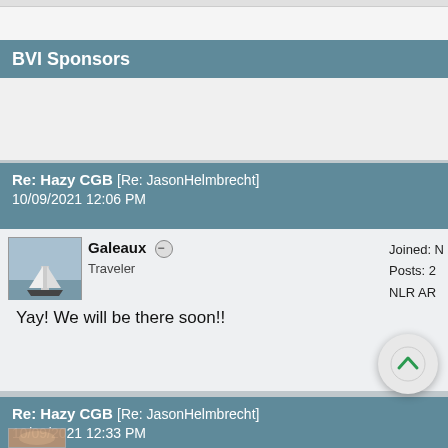BVI Sponsors
Re: Hazy CGB [Re: JasonHelmbrecht]
10/09/2021 12:06 PM
[Figure (photo): Avatar image of a sailboat/catamaran on water]
Galeaux
Traveler
Joined: N...
Posts: 2...
NLR AR...
Yay! We will be there soon!!
Re: Hazy CGB [Re: JasonHelmbrecht]
10/09/2021 12:33 PM